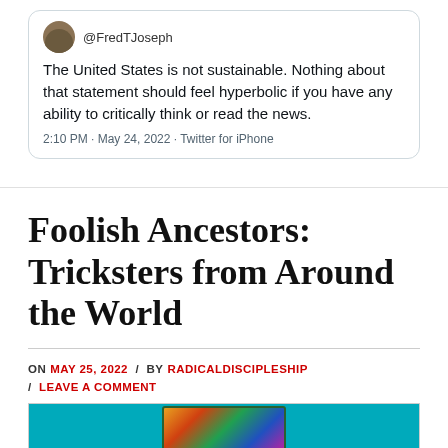[Figure (screenshot): Tweet by @FredTJoseph with avatar, handle, tweet text, and metadata]
The United States is not sustainable. Nothing about that statement should feel hyperbolic if you have any ability to critically think or read the news.
2:10 PM · May 24, 2022 · Twitter for iPhone
Foolish Ancestors: Tricksters from Around the World
ON MAY 25, 2022 / BY RADICALDISCIPLESHIP / LEAVE A COMMENT
[Figure (illustration): Colorful illustrated image partially visible at bottom of page]